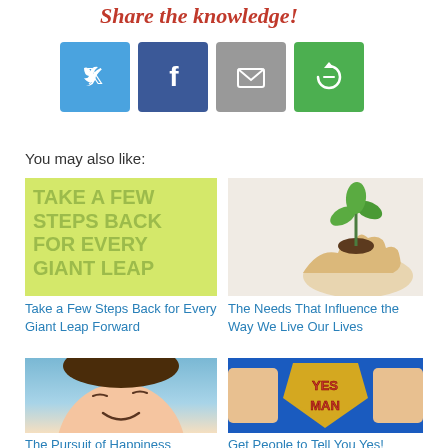Share the knowledge!
[Figure (infographic): Social sharing buttons: Twitter (blue), Facebook (dark blue), Email (gray), Share (green) with red arrow and cursive 'Share the knowledge!' text]
You may also like:
[Figure (illustration): Yellow-green background with large faded text: TAKE A FEW STEPS BACK FOR EVERY GIANT LEAP]
Take a Few Steps Back for Every Giant Leap Forward
[Figure (photo): Hand holding a small green plant seedling in soil]
The Needs That Influence the Way We Live Our Lives
[Figure (photo): Woman smiling with eyes closed against blue sky]
The Pursuit of Happiness
[Figure (photo): Person revealing Superman-style shirt with YES MAN text]
Get People to Tell You Yes!